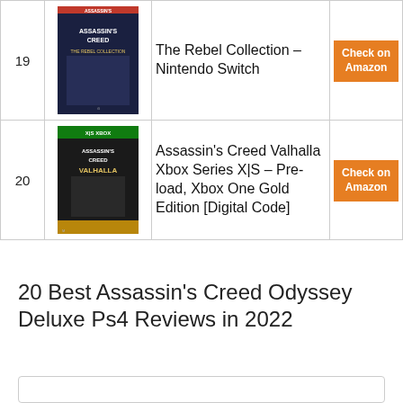| # | Image | Product | Link |
| --- | --- | --- | --- |
| 19 | [image] | The Rebel Collection – Nintendo Switch | Check on Amazon |
| 20 | [image] | Assassin's Creed Valhalla Xbox Series X|S – Pre-load, Xbox One Gold Edition [Digital Code] | Check on Amazon |
20 Best Assassin's Creed Odyssey Deluxe Ps4 Reviews in 2022